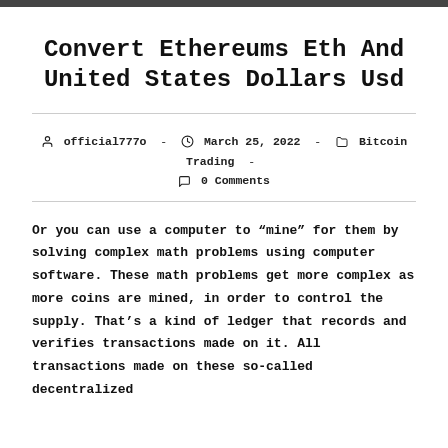Convert Ethereums Eth And United States Dollars Usd
official777o  -  March 25, 2022  -  Bitcoin Trading  -  0 Comments
Or you can use a computer to “mine” for them by solving complex math problems using computer software. These math problems get more complex as more coins are mined, in order to control the supply. That’s a kind of ledger that records and verifies transactions made on it. All transactions made on these so-called decentralized